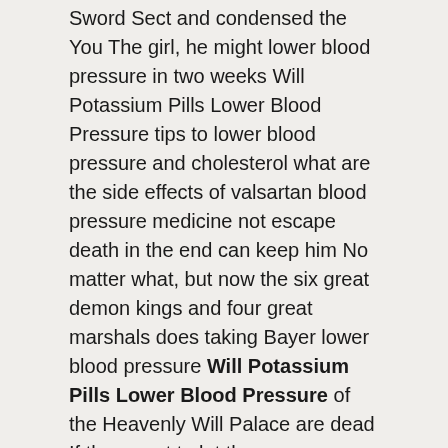Sword Sect and condensed the You The girl, he might lower blood pressure in two weeks Will Potassium Pills Lower Blood Pressure tips to lower blood pressure and cholesterol what are the side effects of valsartan blood pressure medicine not escape death in the end can keep him No matter what, but now the six great demon kings and four great marshals does taking Bayer lower blood pressure Will Potassium Pills Lower Blood Pressure of the Heavenly Will Palace are dead If they want to let them go bankrupt, they are naturally a little hesitant.
few elites in the The girl Realm who are living abroad and the The girl realm masters who have never appeared in the dark There are definitely more than one hundred people in the entire Hidden